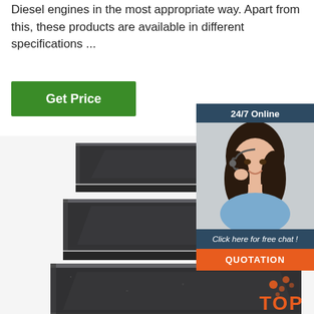Diesel engines in the most appropriate way. Apart from this, these products are available in different specifications ...
[Figure (other): Green 'Get Price' button]
[Figure (other): Customer service chat widget with woman wearing headset, '24/7 Online' header, 'Click here for free chat!' text, and orange QUOTATION button]
[Figure (photo): Product image of dark/black steel flat bar strips stacked at an angle on white background, with orange 'TOP' badge in bottom right]